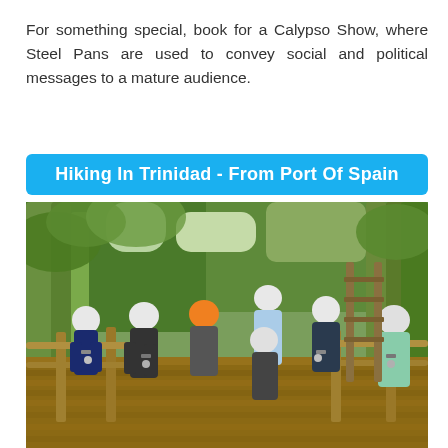For something special, book for a Calypso Show, where Steel Pans are used to convey social and political messages to a mature audience.
Hiking In Trinidad - From Port Of Spain
[Figure (photo): Group of people wearing climbing helmets and harnesses on a wooden platform surrounded by lush tropical forest, preparing for a zip-line or ropes course activity in Trinidad.]